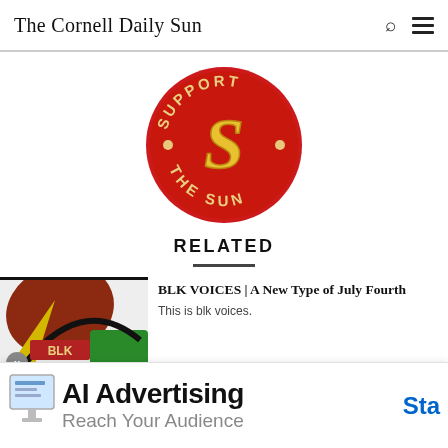The Cornell Daily Sun
[Figure (logo): Support The Sun circular logo — red circle with a bold yellow 'S' in gothic/blackletter style, text 'SUPPORT THE SUN' around the border in cream/yellow letters]
RELATED
[Figure (photo): Thumbnail image for BLK VOICES article — colorful graphic with green, red, and yellow shapes and text 'BLK']
BLK VOICES | A New Type of July Fourth
This is blk voices.
[Figure (screenshot): Advertisement banner: 'AI Advertising / Reach Your Audience' with a monitor graphic on the left and 'Sta' (Start) in blue on the right]